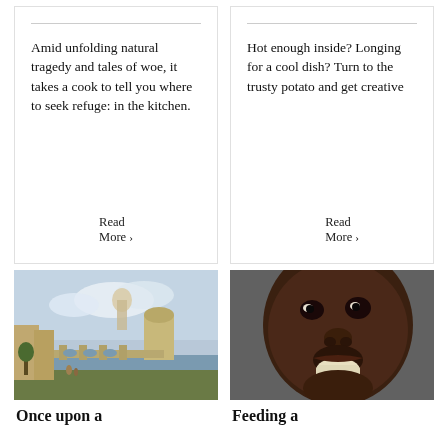Amid unfolding natural tragedy and tales of woe, it takes a cook to tell you where to seek refuge: in the kitchen.
Read More ›
Hot enough inside? Longing for a cool dish? Turn to the trusty potato and get creative
Read More ›
[Figure (photo): Painting of Rome with a river, bridge, and ancient buildings including Castel Sant'Angelo under a cloudy sky]
Once upon a
[Figure (photo): Close-up photograph of a child's face with a piece of white food (possibly bread or yam) in their mouth]
Feeding a